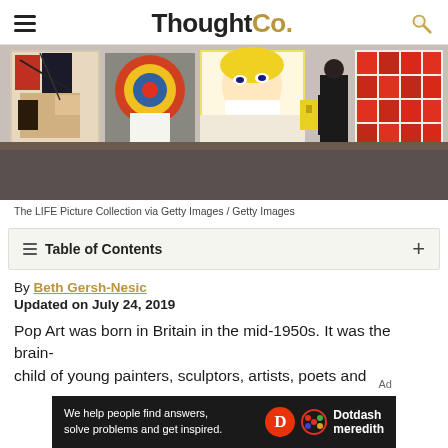ThoughtCo.
[Figure (photo): Gallery interior showing large pop art paintings on walls including a Roy Lichtenstein comic-style painting and Andy Warhol's Campbell's Soup Cans; a man in a dark suit stands viewing the works.]
The LIFE Picture Collection via Getty Images / Getty Images
Table of Contents
By Beth Gersh-Nesic
Updated on July 24, 2019
Pop Art was born in Britain in the mid-1950s. It was the brain-child of young painters, sculptors, artists, poets and